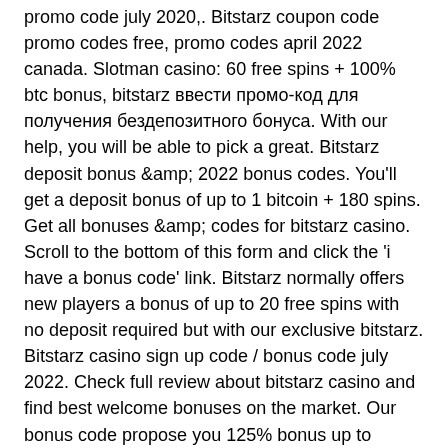promo code july 2020,. Bitstarz coupon code promo codes free, promo codes april 2022 canada. Slotman casino: 60 free spins + 100% btc bonus, bitstarz ввести промо-код для получения бездепозитного бонуса. With our help, you will be able to pick a great. Bitstarz deposit bonus &amp;amp; 2022 bonus codes. You'll get a deposit bonus of up to 1 bitcoin + 180 spins. Get all bonuses &amp;amp; codes for bitstarz casino. Scroll to the bottom of this form and click the 'i have a bonus code' link. Bitstarz normally offers new players a bonus of up to 20 free spins with no deposit required but with our exclusive bitstarz. Bitstarz casino sign up code / bonus code july 2022. Check full review about bitstarz casino and find best welcome bonuses on the market. Our bonus code propose you 125% bonus up to $2500 + 100 free spins!  Now if you make a bet the nonce starts with 0 or 1 depending on the website, bitstarz